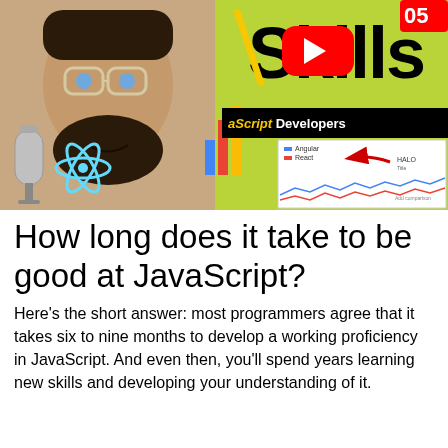[Figure (screenshot): YouTube thumbnail showing a man with glasses and a microphone, React logo, YouTube play button, Google Trends chart with Angular and React lines, text reading 'Skills JavaScript Developers' on green background]
How long does it take to be good at JavaScript?
Here's the short answer: most programmers agree that it takes six to nine months to develop a working proficiency in JavaScript. And even then, you'll spend years learning new skills and developing your understanding of it.
And even...